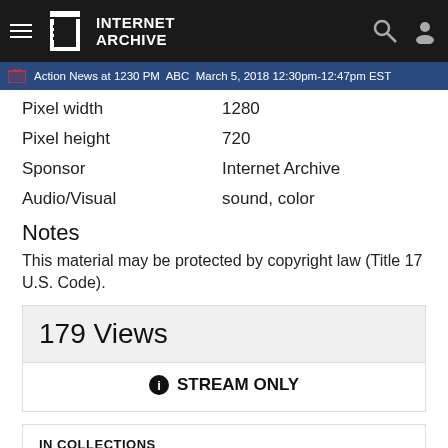Internet Archive
Action News at 1230 PM  ABC  March 5, 2018 12:30pm-12:47pm EST
| Property | Value |
| --- | --- |
| Pixel width | 1280 |
| Pixel height | 720 |
| Sponsor | Internet Archive |
| Audio/Visual | sound, color |
Notes
This material may be protected by copyright law (Title 17 U.S. Code).
179 Views
STREAM ONLY
IN COLLECTIONS